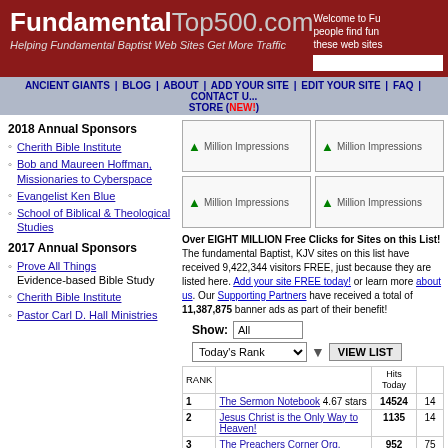FundamentalTop500.com - Helping Fundamental Baptist Web Sites Get More Traffic
ANCIENT GIANTS | BLOG | ABOUT | ADD YOUR SITE | EDIT YOUR SITE | FAQ | CONTACT US | STORE (NEW!)
2018 Annual Sponsors
Cherith Bible Institute
Bob and Maureen Hoffman, Missionaries to Cyberspace
Evangelist Ken Blue
School of Biblical & Theological Studies
2017 Annual Sponsors
Prove All Things - Evidence-based Bible Study
Cherith Bible Institute
Pastor Carl D. Hall Ministries
[Figure (screenshot): Four banner advertisement placeholders labeled Million Impressions in a 2x2 grid]
Over EIGHT MILLION Free Clicks for Sites on this List! The fundamental Baptist, KJV sites on this list have received 9,422,344 visitors FREE, just because they are listed here. Add your site FREE today! or learn more about us. Our Supporting Partners have received a total of 11,387,875 banner ads as part of their benefit!
| RANK |  | Hits Today |  |
| --- | --- | --- | --- |
| 1 | The Sermon Notebook 4.67 stars | 14524 | 14 |
| 2 | Jesus Christ is the Only Way to Heaven! | 1135 | 14 |
| 3 | The Preachers Corner Org. | 952 | 75 |